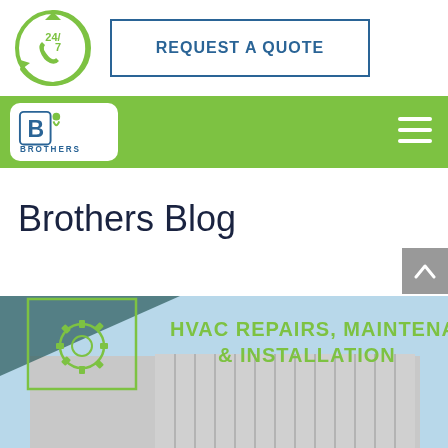[Figure (logo): 24/7 phone icon circular green logo with circular arrows]
REQUEST A QUOTE
[Figure (logo): Brothers HVAC company logo in white rounded rectangle box with B icon and BROTHERS text]
[Figure (illustration): Hamburger menu icon (three horizontal lines) on green navigation bar]
Brothers Blog
[Figure (photo): HVAC unit photo with overlay text: HVAC REPAIRS, MAINTENANCE, & INSTALLATION and a gear/flower logo icon on the left]